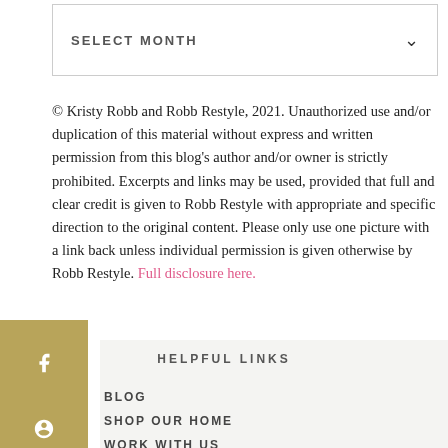SELECT MONTH ▾
© Kristy Robb and Robb Restyle, 2021. Unauthorized use and/or duplication of this material without express and written permission from this blog's author and/or owner is strictly prohibited. Excerpts and links may be used, provided that full and clear credit is given to Robb Restyle with appropriate and specific direction to the original content. Please only use one picture with a link back unless individual permission is given otherwise by Robb Restyle. Full disclosure here.
HELPFUL LINKS
BLOG
SHOP OUR HOME
WORK WITH US